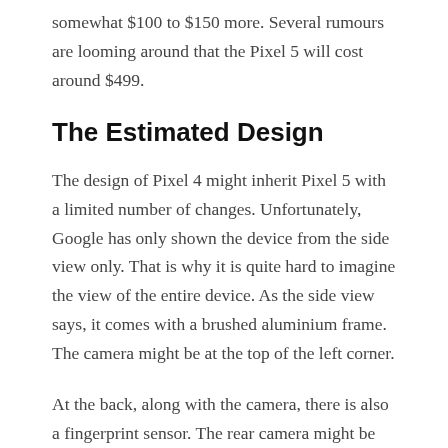somewhat $100 to $150 more. Several rumours are looming around that the Pixel 5 will cost around $499.
The Estimated Design
The design of Pixel 4 might inherit Pixel 5 with a limited number of changes. Unfortunately, Google has only shown the device from the side view only. That is why it is quite hard to imagine the view of the entire device. As the side view says, it comes with a brushed aluminium frame. The camera might be at the top of the left corner.
At the back, along with the camera, there is also a fingerprint sensor. The rear camera might be dual for better picture quality than Pixel 4 and 4a. Several tech